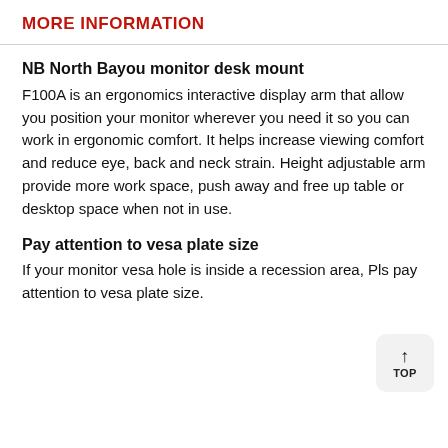MORE INFORMATION
NB North Bayou monitor desk mount
F100A is an ergonomics interactive display arm that allow you position your monitor wherever you need it so you can work in ergonomic comfort. It helps increase viewing comfort and reduce eye, back and neck strain. Height adjustable arm provide more work space, push away and free up table or desktop space when not in use.
Pay attention to vesa plate size
If your monitor vesa hole is inside a recession area, Pls pay attention to vesa plate size.